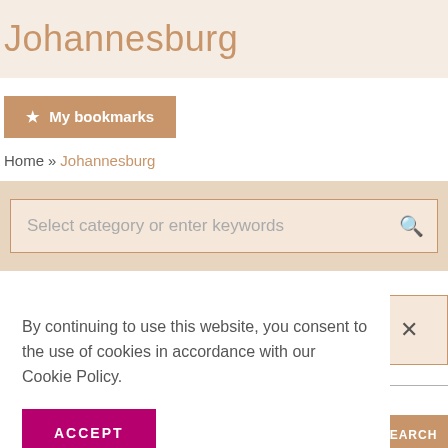Johannesburg
★ My bookmarks
Home » Johannesburg
Select category or enter keywords
By continuing to use this website, you consent to the use of cookies in accordance with our Cookie Policy.
ACCEPT
×
SEARCH